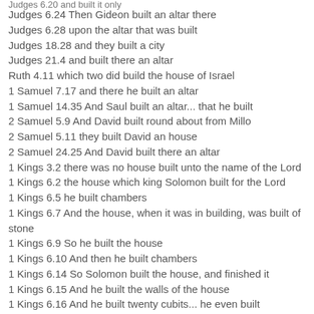Judges 6.24 Then Gideon built an altar there
Judges 6.28 upon the altar that was built
Judges 18.28 and they built a city
Judges 21.4 and built there an altar
Ruth 4.11 which two did build the house of Israel
1 Samuel 7.17 and there he built an altar
1 Samuel 14.35 And Saul built an altar... that he built
2 Samuel 5.9 And David built round about from Millo
2 Samuel 5.11 they built David an house
2 Samuel 24.25 And David built there an altar
1 Kings 3.2 there was no house built unto the name of the Lord
1 Kings 6.2 the house which king Solomon built for the Lord
1 Kings 6.5 he built chambers
1 Kings 6.7 And the house, when it was in building, was built of stone
1 Kings 6.9 So he built the house
1 Kings 6.10 And then he built chambers
1 Kings 6.14 So Solomon built the house, and finished it
1 Kings 6.15 And he built the walls of the house
1 Kings 6.16 And he built twenty cubits... he even built
1 Kings 6.36 And he built the inner court